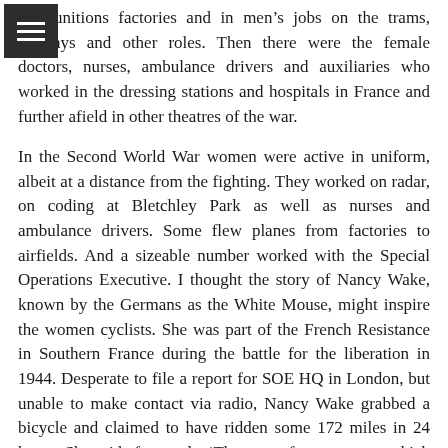in munitions factories and in men's jobs on the trams, railways and other roles. Then there were the female doctors, nurses, ambulance drivers and auxiliaries who worked in the dressing stations and hospitals in France and further afield in other theatres of the war.
In the Second World War women were active in uniform, albeit at a distance from the fighting. They worked on radar, on coding at Bletchley Park as well as nurses and ambulance drivers. Some flew planes from factories to airfields. And a sizeable number worked with the Special Operations Executive. I thought the story of Nancy Wake, known by the Germans as the White Mouse, might inspire the women cyclists. She was part of the French Resistance in Southern France during the battle for the liberation in 1944. Desperate to file a report for SOE HQ in London, but unable to make contact via radio, Nancy Wake grabbed a bicycle and claimed to have ridden some 172 miles in 24 hours. She said afterwards: ‘That part of my anatomy which is meant to give pleasure was on fire. I could neither sit nor stand for two days.’ That chimed with some of us. Imagine doing that distance on an old-fashioned bike without gel shorts, comfortable cycling shoes and under the constant threat of attack.